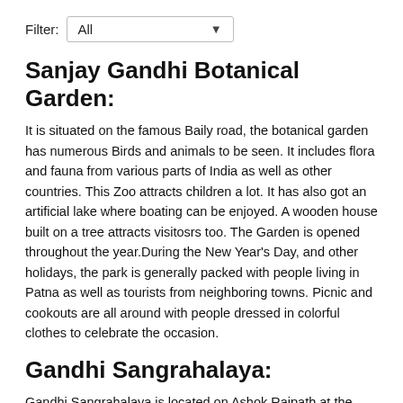Filter: All
Sanjay Gandhi Botanical Garden:
It is situated on the famous Baily road, the botanical garden has numerous Birds and animals to be seen. It includes flora and fauna from various parts of India as well as other countries. This Zoo attracts children a lot. It has also got an artificial lake where boating can be enjoyed. A wooden house built on a tree attracts visitosrs too. The Garden is opened throughout the year.During the New Year's Day, and other holidays, the park is generally packed with people living in Patna as well as tourists from neighboring towns. Picnic and cookouts are all around with people dressed in colorful clothes to celebrate the occasion.
Gandhi Sangrahalaya:
Gandhi Sangrahalaya is located on Ashok Rajpath at the north-western corner of Gandhi Maidan and contains pictorial and other records showing the association of